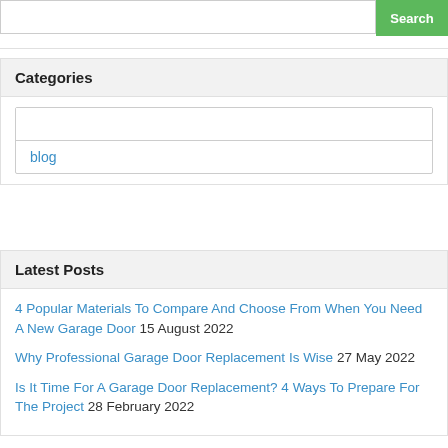Categories
blog
Latest Posts
4 Popular Materials To Compare And Choose From When You Need A New Garage Door 15 August 2022
Why Professional Garage Door Replacement Is Wise 27 May 2022
Is It Time For A Garage Door Replacement? 4 Ways To Prepare For The Project 28 February 2022